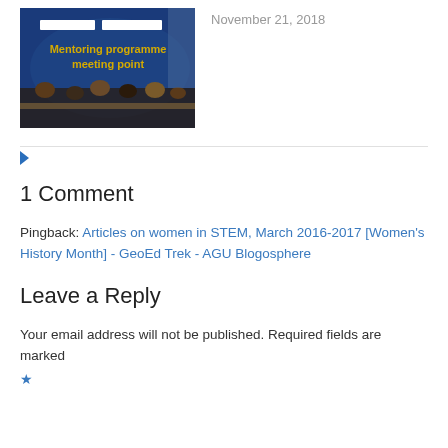[Figure (photo): Photo of a conference or meeting room with people seated at tables. A blue banner in the background reads 'Mentoring programme meeting point' in yellow text.]
November 21, 2018
1 Comment
Pingback: Articles on women in STEM, March 2016-2017 [Women's History Month] - GeoEd Trek - AGU Blogosphere
Leave a Reply
Your email address will not be published. Required fields are marked *